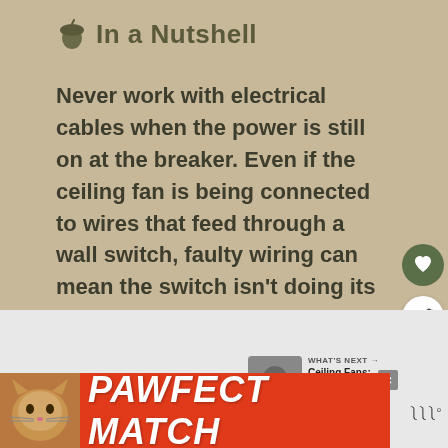In a Nutshell
Never work with electrical cables when the power is still on at the breaker. Even if the ceiling fan is being connected to wires that feed through a wall switch, faulty wiring can mean the switch isn't doing its job properly. Switches can also get flipped back on easily.
[Figure (screenshot): Advertisement banner reading PAWFECT MATCH with a cat image on orange/red background]
WHAT'S NEXT → Ceiling Fans: Are they...